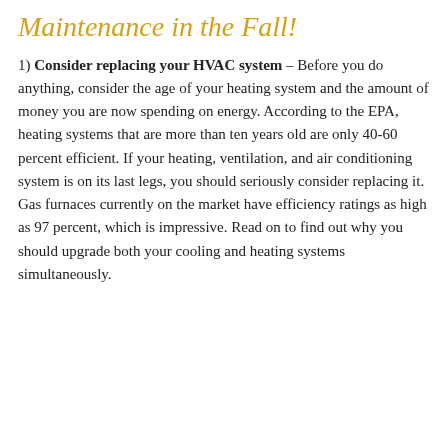Maintenance in the Fall!
1) Consider replacing your HVAC system – Before you do anything, consider the age of your heating system and the amount of money you are now spending on energy. According to the EPA, heating systems that are more than ten years old are only 40-60 percent efficient. If your heating, ventilation, and air conditioning system is on its last legs, you should seriously consider replacing it. Gas furnaces currently on the market have efficiency ratings as high as 97 percent, which is impressive. Read on to find out why you should upgrade both your cooling and heating systems simultaneously.